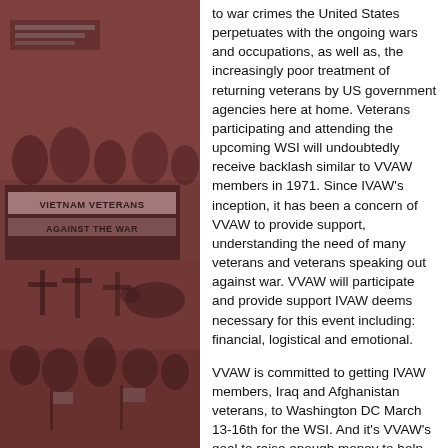[Figure (photo): Collage of black-and-white photographs with a reddish-pink tint showing Vietnam Veterans Against the War protest scenes. Includes images of protesters holding signs reading 'VIETNAM VETERANS AGAINST THE WAR' and other demonstration imagery.]
to war crimes the United States perpetuates with the ongoing wars and occupations, as well as, the increasingly poor treatment of returning veterans by US government agencies here at home. Veterans participating and attending the upcoming WSI will undoubtedly receive backlash similar to VVAW members in 1971. Since IVAW's inception, it has been a concern of VVAW to provide support, understanding the need of many veterans and veterans speaking out against war. VVAW will participate and provide support IVAW deems necessary for this event including: financial, logistical and emotional.
VVAW is committed to getting IVAW members, Iraq and Afghanistan veterans, to Washington DC March 13-16th for the WSI. And it's VVAW's goal to raise enough money to help provide housing for these veterans at the event. Your financial support will help us in achieving this! Vietnam Veterans Against the War are